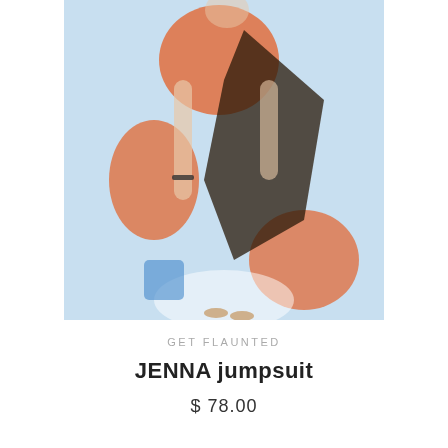[Figure (photo): A woman wearing a light blue patterned maxi jumpsuit with orange, black and blue abstract print. The image shows her from neck to feet, with her arms by her sides.]
GET FLAUNTED
JENNA jumpsuit
$ 78.00